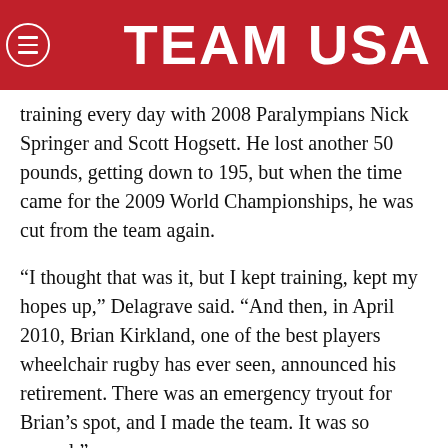TEAM USA
training every day with 2008 Paralympians Nick Springer and Scott Hogsett. He lost another 50 pounds, getting down to 195, but when the time came for the 2009 World Championships, he was cut from the team again.
“I thought that was it, but I kept training, kept my hopes up,” Delagrave said. “And then, in April 2010, Brian Kirkland, one of the best players wheelchair rugby has ever seen, announced his retirement. There was an emergency tryout for Brian’s spot, and I made the team. It was so surreal.”
Delagrave remembers, more than anything, the Opening Ceremony at the 2012 Paralympic Games in London. He remembers the stadium being packed with 80,000 people. He remembers seeing the Queen. He remembers, not